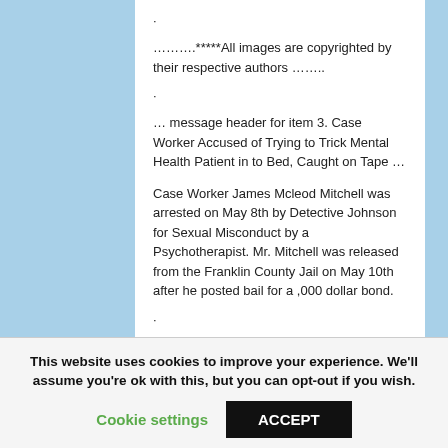·
……….*****All images are copyrighted by their respective authors ……..
·
… message header for item 3. Case Worker Accused of Trying to Trick Mental Health Patient in to Bed, Caught on Tape …
Case Worker James Mcleod Mitchell was arrested on May 8th by Detective Johnson for Sexual Misconduct by a Psychotherapist. Mr. Mitchell was released from the Franklin County Jail on May 10th after he posted bail for a ,000 dollar bond.
·
… message header for item 1. Reality television dominates American culture
This website uses cookies to improve your experience. We'll assume you're ok with this, but you can opt-out if you wish.
Cookie settings   ACCEPT